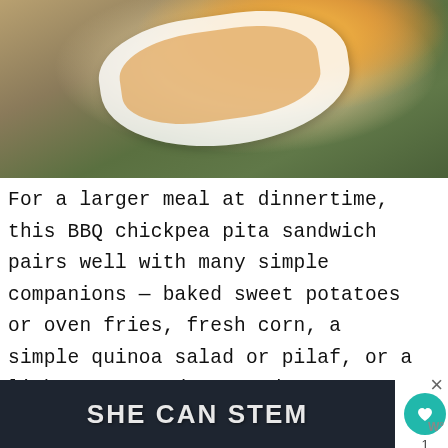[Figure (photo): Close-up photo of a BBQ chickpea pita sandwich in a white dish/bowl, placed on a surface with green leaves, viewed from above at an angle.]
For a larger meal at dinnertime, this BBQ chickpea pita sandwich pairs well with many simple companions — baked sweet potatoes or oven fries, fresh corn, a simple quinoa salad or pilaf, or a light soup. And steamed green veggies are always welcome, too.
[Figure (other): Dark banner advertisement reading SHE CAN STEM in large bold white/light text.]